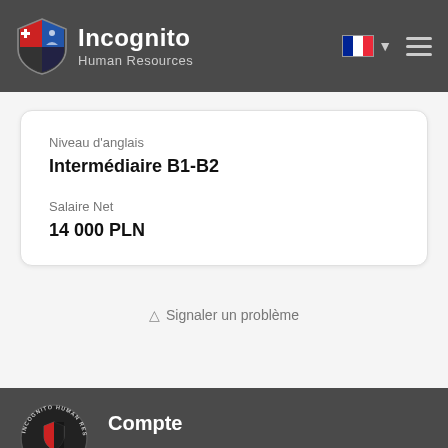Incognito Human Resources
Niveau d'anglais
Intermédiaire B1-B2
Salaire Net
14 000 PLN
Signaler un problème
Compte